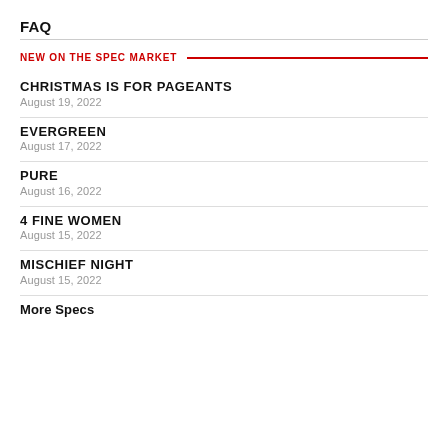FAQ
NEW ON THE SPEC MARKET
CHRISTMAS IS FOR PAGEANTS
August 19, 2022
EVERGREEN
August 17, 2022
PURE
August 16, 2022
4 FINE WOMEN
August 15, 2022
MISCHIEF NIGHT
August 15, 2022
More Specs